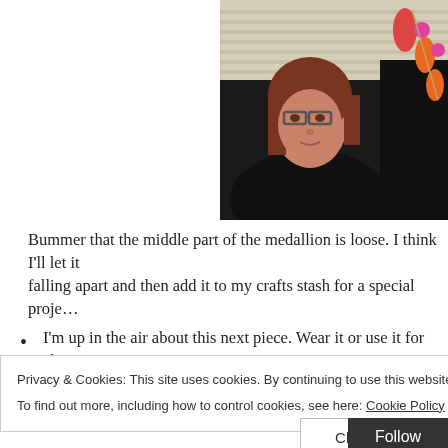[Figure (photo): Woman with glasses holding a large red medallion necklace with orange beads, photographed indoors near blinds.]
Bummer that the middle part of the medallion is loose. I think I'll let it falling apart and then add it to my crafts stash for a special proje...
I'm up in the air about this next piece. Wear it or use it for altere...
Privacy & Cookies: This site uses cookies. By continuing to use this website, you agree to their use.
To find out more, including how to control cookies, see here: Cookie Policy
Close and accept
Follow